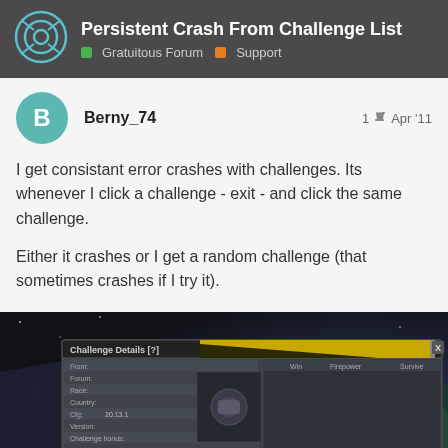Persistent Crash From Challenge List | Gratuitous Forum | Support
Berny_74   1  Apr '11
I get consistant error crashes with challenges. Its whenever I click a challenge - exit - and click the same challenge.

Either it crashes or I get a random challenge (that sometimes crashes if I try it).
[Figure (screenshot): Screenshot of a game UI showing Challenge Details dialog and a Retaliations list panel with several entries, set against a space/planet background]
3 / 12